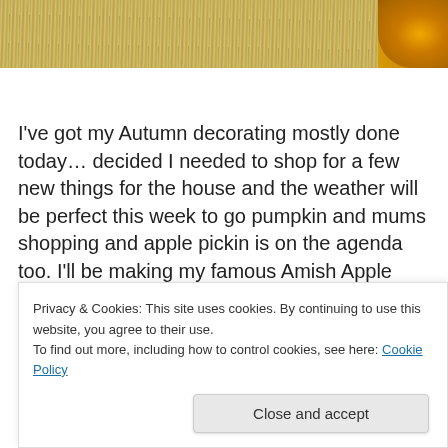[Figure (photo): Partial photo of straw/grain and turmeric or similar spice, cropped at top of page]
I've got my Autumn decorating mostly done today… decided I needed to shop for a few new things for the house and the weather will be perfect this week to go pumpkin and mums shopping and apple pickin is on the agenda too. I'll be making my famous Amish Apple Pies this next week as well. Yummm!!
Privacy & Cookies: This site uses cookies. By continuing to use this website, you agree to their use.
To find out more, including how to control cookies, see here: Cookie Policy
Close and accept